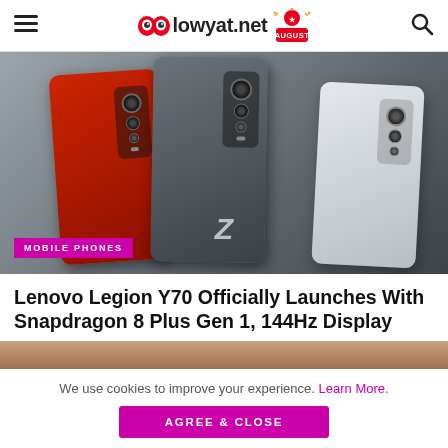lowyat.net
[Figure (photo): Three Lenovo Legion Y70 smartphones shown from the back — red, dark gray, and white — displaying triple camera modules]
MOBILE PHONES
Lenovo Legion Y70 Officially Launches With Snapdragon 8 Plus Gen 1, 144Hz Display
[Figure (photo): Partial second image strip at bottom of article]
We use cookies to improve your experience. Learn More.
AGREE & CLOSE